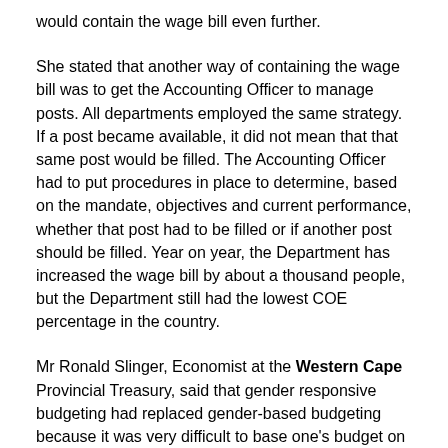would contain the wage bill even further.
She stated that another way of containing the wage bill was to get the Accounting Officer to manage posts. All departments employed the same strategy. If a post became available, it did not mean that that same post would be filled. The Accounting Officer had to put procedures in place to determine, based on the mandate, objectives and current performance, whether that post had to be filled or if another post should be filled. Year on year, the Department has increased the wage bill by about a thousand people, but the Department still had the lowest COE percentage in the country.
Mr Ronald Slinger, Economist at the Western Cape Provincial Treasury, said that gender responsive budgeting had replaced gender-based budgeting because it was very difficult to base one's budget on what portion of a budget should go to men and what portion should go to women. At a national level, the Department of Women did provide a draft framework on gender responsive budgeting for planning, budgeting, monitoring, evaluation and auditing, at a national level and it...